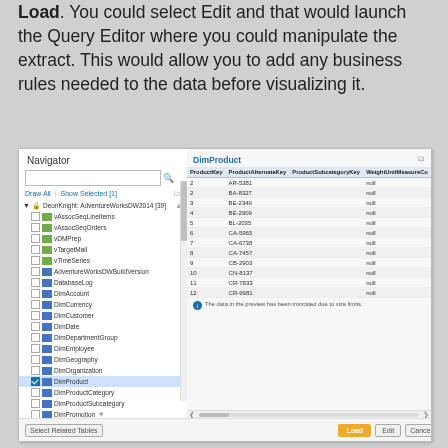Load. You could select Edit and that would launch the Query Editor where you could manipulate the extract. This would allow you to add any business rules needed to the data before visualizing it.
[Figure (screenshot): Power BI Navigator dialog showing a tree of database tables on the left (DimProduct selected/highlighted) and a data preview on the right with columns ProductKey, ProductAlternateKey, ProductSubcategoryKey, WeightUnitMeasureCode and rows of data. Bottom bar has Select Related Tables, Load (yellow), Edit, and Cancel buttons.]